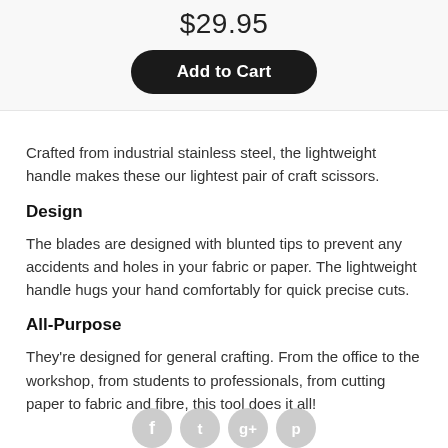$29.95
Add to Cart
Crafted from industrial stainless steel, the lightweight handle makes these our lightest pair of craft scissors.
Design
The blades are designed with blunted tips to prevent any accidents and holes in your fabric or paper. The lightweight handle hugs your hand comfortably for quick precise cuts.
All-Purpose
They're designed for general crafting. From the office to the workshop, from students to professionals, from cutting paper to fabric and fibre, this tool does it all!
[Figure (illustration): Social media share icons: Facebook, Twitter, Google+, Pinterest]